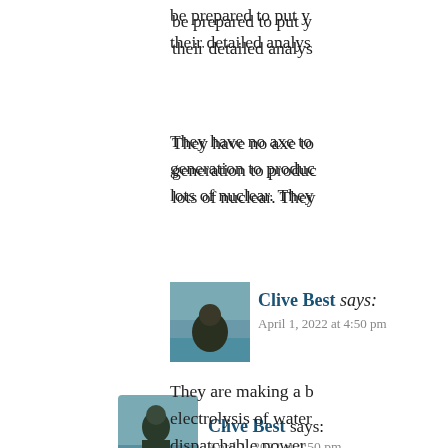be prepared to put y their detailed analys
They have no axe to generation to produc lots of nuclear. They
[Figure (photo): Avatar/profile photo of Clive Best, a person shown outdoors near water]
Clive Best says:
April 1, 2022 at 4:50 pm
They are making a b electrolysis of water dispatchable power intermittent and wea
So when there is lot especially at night is Hydrogen to see us t may be wiser to als